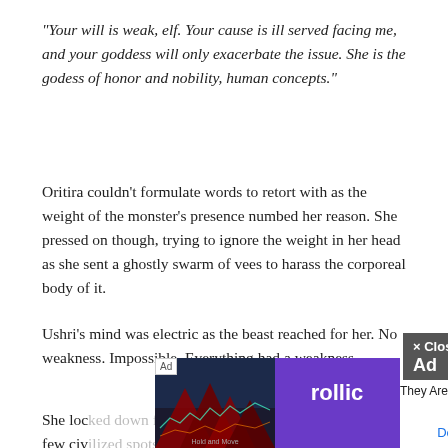"Your will is weak, elf.  Your cause is ill served facing me, and your goddess will only exacerbate the issue.  She is the godess of honor and nobility, human concepts."
Oritira couldn't formulate words to retort with as the weight of the monster's presence numbed her reason.  She pressed on though, trying to ignore the weight in her head as she sent a ghostly swarm of vees to harass the corporeal body of it.
Ushri's mind was electric as the beast reached for her. No weakness. Impossible. Everything had a weakness.
She loc[...] wn. A few civ[...] wasn't that far away. Wait...the treeline...THAT WAS IT!
[Figure (other): Advertisement overlay showing a 'Hold and Move' game ad by Rollic with 'They Are Coming!' text and a Download button, plus a × Close Ad button in dark grey]